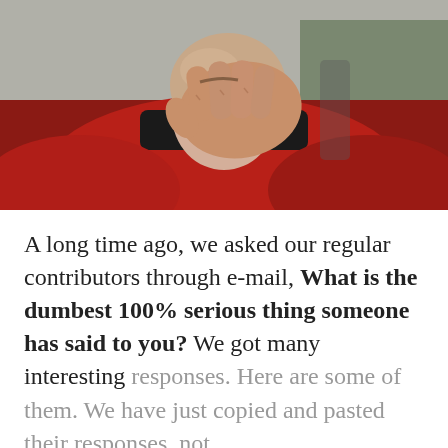[Figure (photo): A person in a red Star Trek uniform doing a facepalm gesture — covering their face with one hand, bald head visible, blurred background.]
A long time ago, we asked our regular contributors through e-mail, What is the dumbest 100% serious thing someone has said to you? We got many interesting responses. Here are some of them. We have just copied and pasted their responses, not